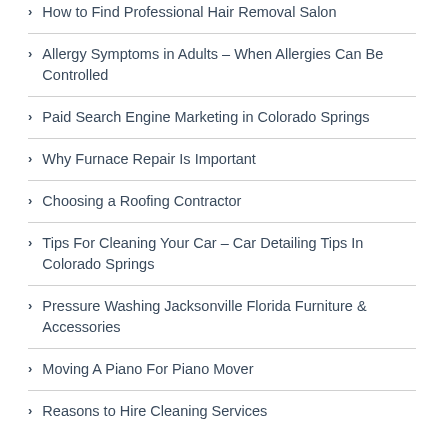How to Find Professional Hair Removal Salon
Allergy Symptoms in Adults – When Allergies Can Be Controlled
Paid Search Engine Marketing in Colorado Springs
Why Furnace Repair Is Important
Choosing a Roofing Contractor
Tips For Cleaning Your Car – Car Detailing Tips In Colorado Springs
Pressure Washing Jacksonville Florida Furniture & Accessories
Moving A Piano For Piano Mover
Reasons to Hire Cleaning Services